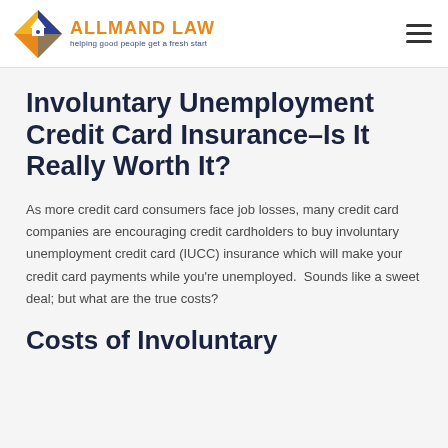ALLMAND LAW – helping good people get a fresh start
Involuntary Unemployment Credit Card Insurance–Is It Really Worth It?
As more credit card consumers face job losses, many credit card companies are encouraging credit cardholders to buy involuntary unemployment credit card (IUCC) insurance which will make your credit card payments while you're unemployed.  Sounds like a sweet deal; but what are the true costs?
Costs of Involuntary